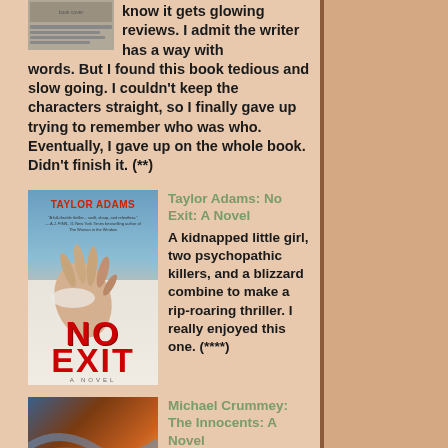know it gets glowing reviews. I admit the writer has a way with words. But I found this book tedious and slow going. I couldn't keep the characters straight, so I finally gave up trying to remember who was who. Eventually, I gave up on the whole book. Didn't finish it. (**)
[Figure (photo): Book cover thumbnail for a novel (partially visible at top left)]
Taylor Adams: No Exit: A Novel
[Figure (photo): Book cover for 'No Exit' by Taylor Adams showing a hand submerged in snow with the title in red letters]
A kidnapped little girl, two psychopathic killers, and a blizzard combine to make a rip-roaring thriller. I really enjoyed this one. (****)
Michael Crummey: The Innocents: A Novel
[Figure (photo): Book cover for 'The Innocents' by Michael Crummey showing swirling colorful abstract landscape]
A brother and sister are orphaned in an isolated